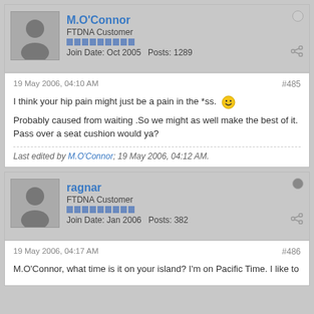M.O'Connor
FTDNA Customer
Join Date: Oct 2005  Posts: 1289
19 May 2006, 04:10 AM
#485
I think your hip pain might just be a pain in the *ss. :)

Probably caused from waiting .So we might as well make the best of it. Pass over a seat cushion would ya?

Last edited by M.O'Connor; 19 May 2006, 04:12 AM.
ragnar
FTDNA Customer
Join Date: Jan 2006  Posts: 382
19 May 2006, 04:17 AM
#486
M.O'Connor, what time is it on your island? I'm on Pacific Time. I like to